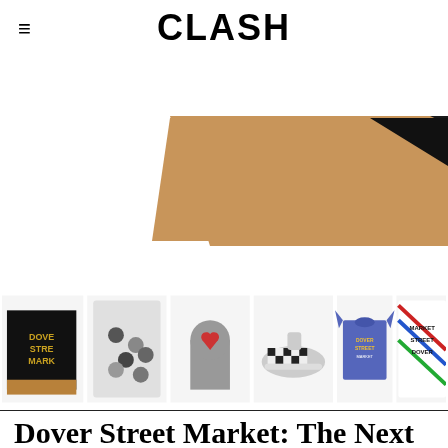CLASH
[Figure (photo): Hero image showing a cardboard box or packaging at an angle, with tan/craft paper color and a dark triangular element.]
[Figure (photo): Thumbnail strip of 6 product images: a black box with gold text 'DOVE STRE MARK', a bag of small round pins/badges, a grey arch-shaped item with a red heart, checkered Vans sneakers, a blue t-shirt with 'DOVER STREET MARKET' text, and a colorful geometric patterned item labeled 'MARKET STREET DOVER'.]
Dover Street Market: The Next Ten Years
The concept store's London branch celebrates a decade.
FEATURES / 01. 09. 2014